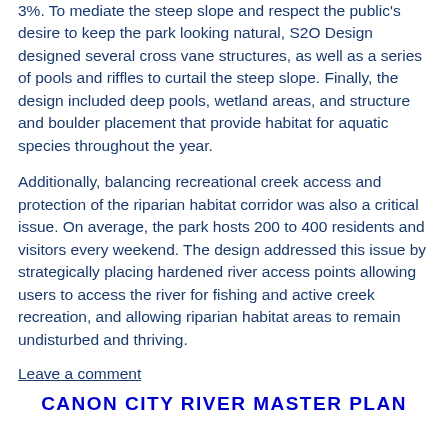3%. To mediate the steep slope and respect the public's desire to keep the park looking natural, S2O Design designed several cross vane structures, as well as a series of pools and riffles to curtail the steep slope. Finally, the design included deep pools, wetland areas, and structure and boulder placement that provide habitat for aquatic species throughout the year.
Additionally, balancing recreational creek access and protection of the riparian habitat corridor was also a critical issue. On average, the park hosts 200 to 400 residents and visitors every weekend. The design addressed this issue by strategically placing hardened river access points allowing users to access the river for fishing and active creek recreation, and allowing riparian habitat areas to remain undisturbed and thriving.
Leave a comment
CANON CITY RIVER MASTER PLAN